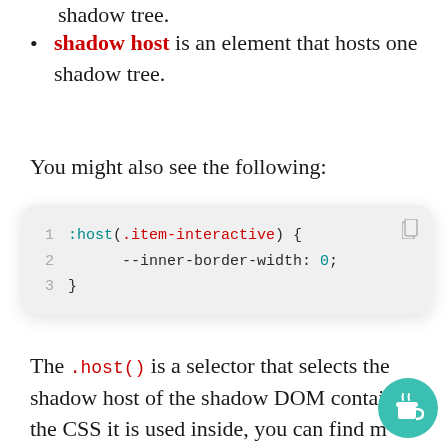shadow tree.
shadow host is an element that hosts one shadow tree.
You might also see the following:
[Figure (screenshot): Code block showing CSS: :host(.item-interactive) { --inner-border-width: 0; }]
The .host() is a selector that selects the shadow host of the shadow DOM containing the CSS it is used inside, you can find m about that in the following link: :host(